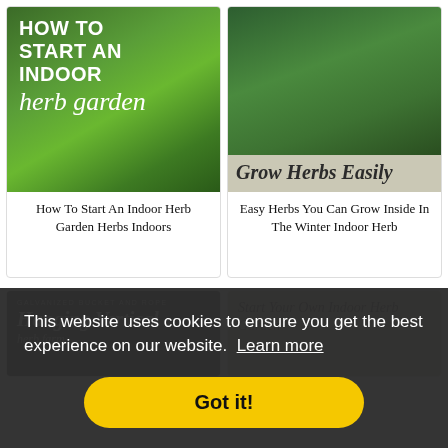[Figure (photo): Card image: 'How To Start An Indoor Herb Garden' with green herb leaves background]
How To Start An Indoor Herb Garden Herbs Indoors
[Figure (photo): Card image: Close-up of green herbs with 'Grow Herbs Easily' script text on beige band]
Easy Herbs You Can Grow Inside In The Winter Indoor Herb
[Figure (photo): Card image: dark background with 'GALVANIZED BUCKET AND ROPE Hanging Vertical' text]
[Figure (photo): Card image: beige background with 'Start Your Own Indoor Herb Garden' text]
This website uses cookies to ensure you get the best experience on our website.  Learn more
Got it!